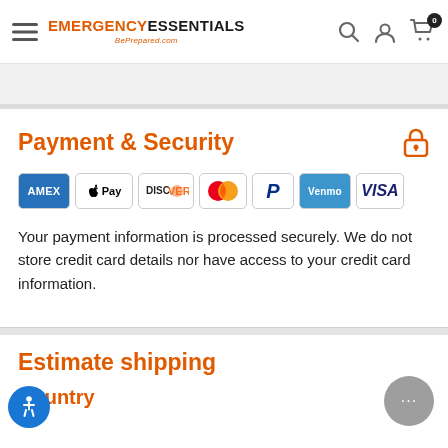EMERGENCY ESSENTIALS BePrepared.com
Payment & Security
[Figure (other): Payment method icons: American Express, Apple Pay, Discover, Mastercard, PayPal, Venmo, Visa]
Your payment information is processed securely. We do not store credit card details nor have access to your credit card information.
Estimate shipping
Country